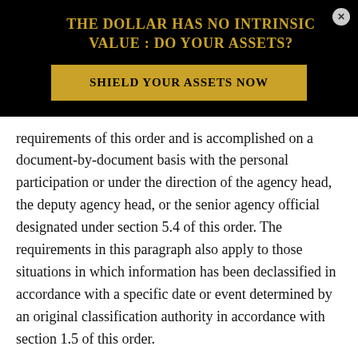THE DOLLAR HAS NO INTRINSIC VALUE : DO YOUR ASSETS?
SHIELD YOUR ASSETS NOW
requirements of this order and is accomplished on a document-by-document basis with the personal participation or under the direction of the agency head, the deputy agency head, or the senior agency official designated under section 5.4 of this order.  The requirements in this paragraph also apply to those situations in which information has been declassified in accordance with a specific date or event determined by an original classification authority in accordance with section 1.5 of this order.
(e)  Compilations of items of information that are individually unclassified may be classified if the compiled information reveals an additional association or relationship that:  (1) meets the standards for classification under this order; and (2)